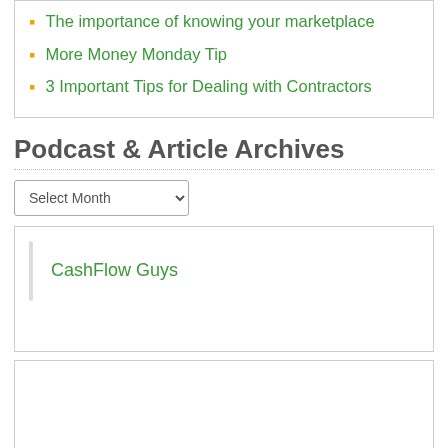The importance of knowing your marketplace
More Money Monday Tip
3 Important Tips for Dealing with Contractors
Podcast & Article Archives
Select Month
CashFlow Guys